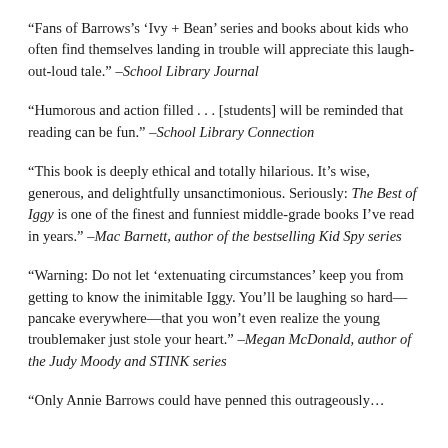“Fans of Barrows’s ‘Ivy + Bean’ series and books about kids who often find themselves landing in trouble will appreciate this laugh-out-loud tale.” –School Library Journal
“Humorous and action filled . . . [students] will be reminded that reading can be fun.” –School Library Connection
“This book is deeply ethical and totally hilarious. It’s wise, generous, and delightfully unsanctimonious. Seriously: The Best of Iggy is one of the finest and funniest middle-grade books I’ve read in years.” –Mac Barnett, author of the bestselling Kid Spy series
“Warning: Do not let ‘extenuating circumstances’ keep you from getting to know the inimitable Iggy. You’ll be laughing so hard—pancake everywhere—that you won’t even realize the young troublemaker just stole your heart.” –Megan McDonald, author of the Judy Moody and STINK series
“Only Annie Barrows could have penned this outrageously…